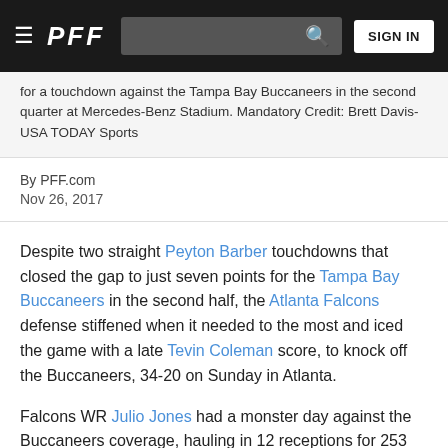PFF — Navigation bar with hamburger menu, PFF logo, search bar, SIGN IN button
for a touchdown against the Tampa Bay Buccaneers in the second quarter at Mercedes-Benz Stadium. Mandatory Credit: Brett Davis-USA TODAY Sports
By PFF.com
Nov 26, 2017
Despite two straight Peyton Barber touchdowns that closed the gap to just seven points for the Tampa Bay Buccaneers in the second half, the Atlanta Falcons defense stiffened when it needed to the most and iced the game with a late Tevin Coleman score, to knock off the Buccaneers, 34-20 on Sunday in Atlanta.
Falcons WR Julio Jones had a monster day against the Buccaneers coverage, hauling in 12 receptions for 253 yards and two touchdowns, including one score from